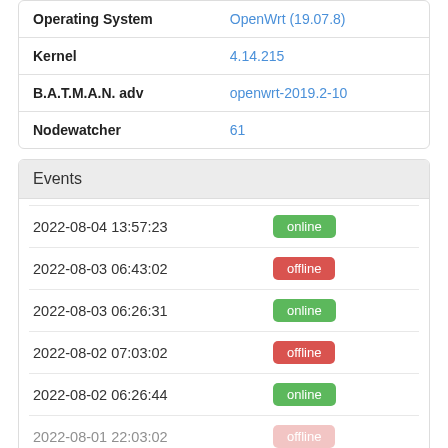|  |  |
| --- | --- |
| Operating System | OpenWrt (19.07.8) |
| Kernel | 4.14.215 |
| B.A.T.M.A.N. adv | openwrt-2019.2-10 |
| Nodewatcher | 61 |
Events
| 2022-08-04 13:57:23 | online |
| 2022-08-03 06:43:02 | offline |
| 2022-08-03 06:26:31 | online |
| 2022-08-02 07:03:02 | offline |
| 2022-08-02 06:26:44 | online |
| 2022-08-01 22:03:02 | offline |
Neighbours (Load full stats)
| Hostname | MAC Address | Quality Interface |
| --- | --- | --- |